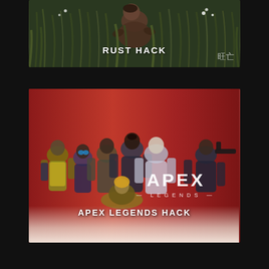[Figure (illustration): Game card for 'Rust Hack' showing a figure crouching in tall grass with a dark, muted color palette. Text overlay reads 'RUST HACK' in white bold letters.]
[Figure (illustration): Game card for 'Apex Legends Hack' showing multiple armored game characters standing together against a red background with ground mist. Apex Legends logo visible. Text overlay reads 'APEX LEGENDS HACK' in white bold letters.]